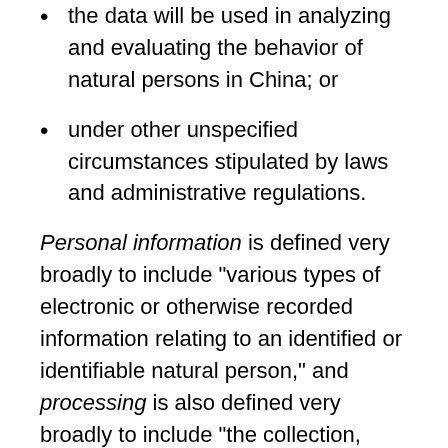the data will be used in analyzing and evaluating the behavior of natural persons in China; or
under other unspecified circumstances stipulated by laws and administrative regulations.
Personal information is defined very broadly to include "various types of electronic or otherwise recorded information relating to an identified or identifiable natural person," and processing is also defined very broadly to include "the collection, storage, use, refining, transmission, provision, public disclosure, and deletion of personal data"